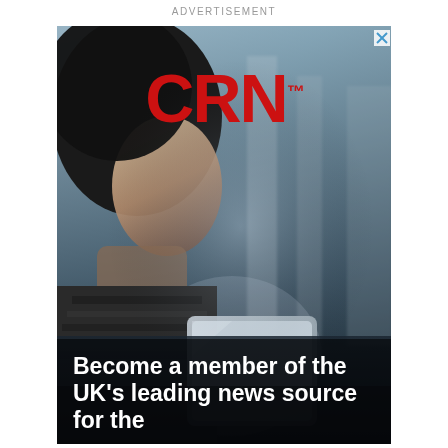ADVERTISEMENT
[Figure (photo): Advertisement for CRN. A woman looking at a tablet/phone device in a dimly lit environment with blurred background. CRN logo in red at the top of the ad. Bottom text reads: Become a member of the UK's leading news source for the...]
Become a member of the UK's leading news source for the